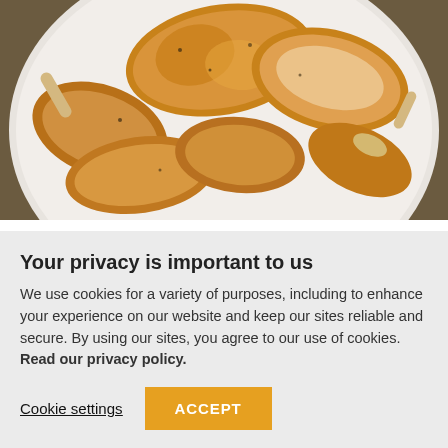[Figure (photo): Overhead view of roasted/cooked chicken pieces arranged on a white oval plate, set on a dark brown surface. The chicken pieces include legs, thighs, and breast pieces, golden-brown with seasoning.]
Hunter Angler Gardener Cook blogger Hank Shaw will visit Nebraska on this latest book tour. By Jenny Nguyen-Wheatley Award-winning Hunter Angler Gardener Cook blogger Hank Shaw will visit the
Your privacy is important to us
We use cookies for a variety of purposes, including to enhance your experience on our website and keep our sites reliable and secure. By using our sites, you agree to our use of cookies. Read our privacy policy.
Cookie settings
ACCEPT